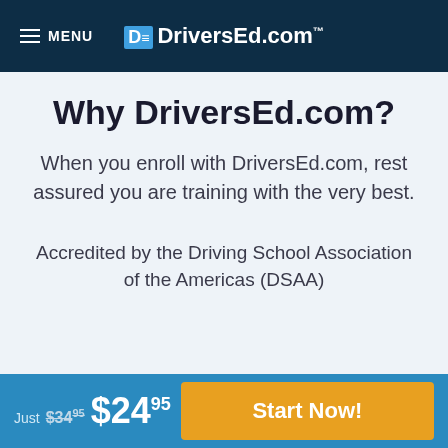MENU  DE DriversEd.com
Why DriversEd.com?
When you enroll with DriversEd.com, rest assured you are training with the very best.
Accredited by the Driving School Association of the Americas (DSAA)
Just $34.95  $24.95  Start Now!